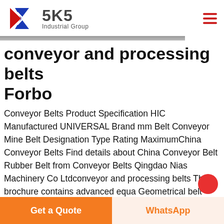[Figure (logo): SKS Industrial Group logo with red and blue K letter mark, brand name SKS and tagline Industrial Group]
conveyor and processing belts Forbo
Conveyor Belts Product Specification HIC Manufactured UNIVERSAL Brand mm Belt Conveyor Mine Belt Designation Type Rating MaximumChina Conveyor Belts Find details about China Conveyor Belt Rubber Belt from Conveyor Belts Qingdao Nias Machinery Co Ltdconveyor and processing belts This brochure contains advanced equa Geometrical belt length L g mm Length of conveyor l T m Mass of the goods conveyed over the
Get a Quote
WhatsApp